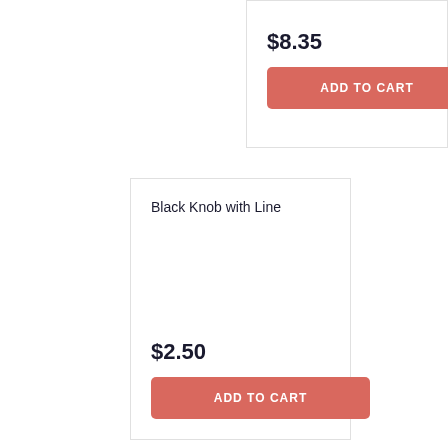$8.35
ADD TO CART
Black Knob with Line
$2.50
ADD TO CART